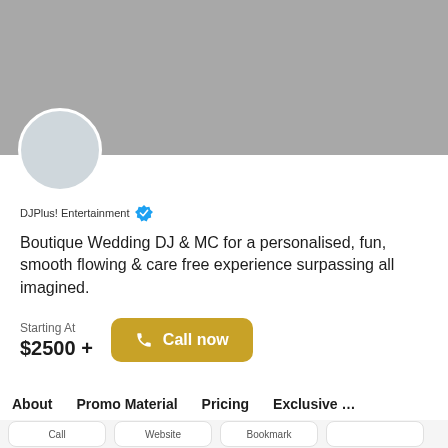[Figure (photo): Gray cover photo banner at top of profile page]
[Figure (photo): Circular avatar placeholder with light blue-gray background]
DJPlus! Entertainment (verified badge)
Boutique Wedding DJ & MC for a personalised, fun, smooth flowing & care free experience surpassing all imagined.
Starting At
$2500 +
Call now
About
Promo Material
Pricing
Exclusive Of▶